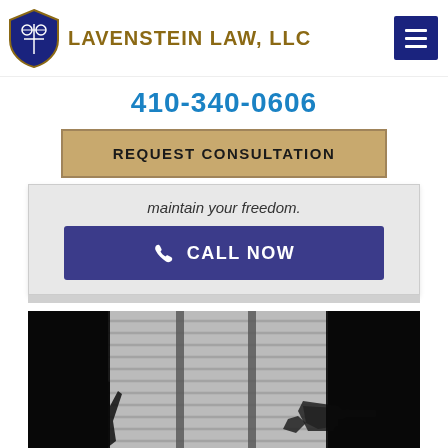Lavenstein Law, LLC
410-340-0606
REQUEST CONSULTATION
maintain your freedom.
CALL NOW
[Figure (photo): Black and white shadow photo showing silhouettes of hands and a gun against window blinds, suggesting a criminal defense legal context]